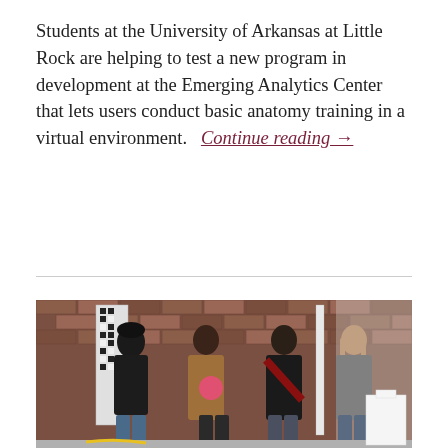Students at the University of Arkansas at Little Rock are helping to test a new program in development at the Emerging Analytics Center that lets users conduct basic anatomy training in a virtual environment.   Continue reading →
[Figure (photo): Four people standing in front of a brick wall with black and white tile art panels. From left to right: a person in a black jacket with a hat, a person in a brown coat holding something, a person in a dark jacket with glasses, and a person with long hair in a grey hoodie. White folding chairs are visible on the right. The floor is concrete.]